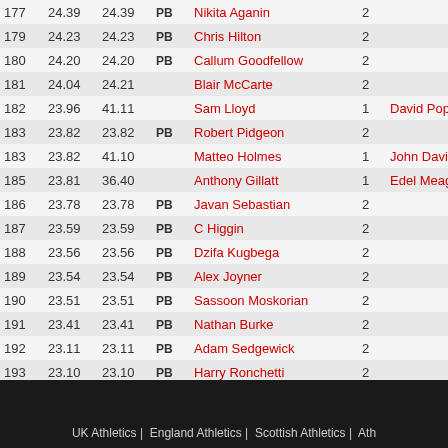| Rank | Pts1 | Pts2 | PB | Name | Num | Extra |
| --- | --- | --- | --- | --- | --- | --- |
| 177 | 24.39 | 24.39 | PB | Nikita Aganin | 2 |  |
| 179 | 24.23 | 24.23 | PB | Chris Hilton | 2 |  |
| 180 | 24.20 | 24.20 | PB | Callum Goodfellow | 2 |  |
| 181 | 24.04 | 24.21 |  | Blair McCarte | 2 |  |
| 182 | 23.96 | 41.11 |  | Sam Lloyd | 1 | David Pope |
| 183 | 23.82 | 23.82 | PB | Robert Pidgeon | 2 |  |
| 183 | 23.82 | 41.10 |  | Matteo Holmes | 1 | John Davies |
| 185 | 23.81 | 36.40 |  | Anthony Gillatt | 1 | Edel Meaghe |
| 186 | 23.78 | 23.78 | PB | Javan Sebastian | 2 |  |
| 187 | 23.59 | 23.59 | PB | C Higgin | 2 |  |
| 188 | 23.56 | 23.56 | PB | Dzifa Kugbega | 2 |  |
| 189 | 23.54 | 23.54 | PB | Alex Joyner | 2 |  |
| 190 | 23.51 | 23.51 | PB | Sassoon Moskorian | 2 |  |
| 191 | 23.41 | 23.41 | PB | Nathan Burke | 2 |  |
| 192 | 23.11 | 23.11 | PB | Adam Sedgewick | 2 |  |
| 193 | 23.10 | 23.10 | PB | Harry Ronchetti | 2 |  |
| SECTION | Resident Non UK Athletes |  |  |  |  |  |
|  | 41.03 | 71.44 |  | Fellan McGuigan | 1 |  |
UK Athletics |  England Athletics |  Scottish Athletics |  Ath